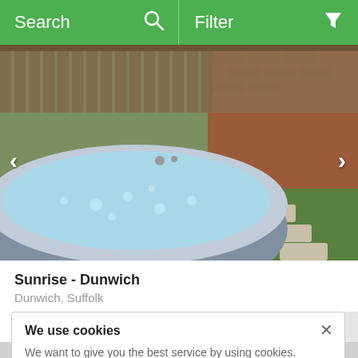Search  Filter
[Figure (photo): Outdoor hot tub with bubbling blue water surrounded by wooden fence and brick wall with stepping stones in garden]
Sunrise - Dunwich
Dunwich, Suffolk
We use cookies
We want to give you the best service by using cookies. Continue browsing if you're happy with this, or find out more on our cookies.
£1,606